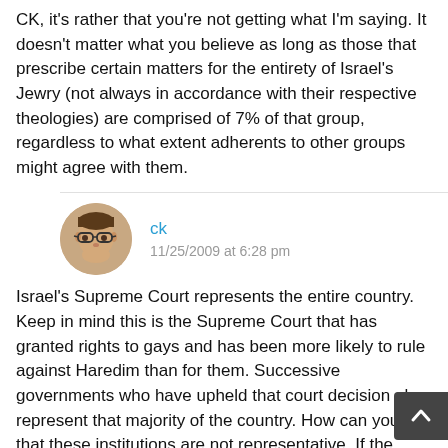CK, it's rather that you're not getting what I'm saying. It doesn't matter what you believe as long as those that prescribe certain matters for the entirety of Israel's Jewry (not always in accordance with their respective theologies) are comprised of 7% of that group, regardless to what extent adherents to other groups might agree with them.
ck
11/25/2009 at 6:28 pm
Israel's Supreme Court represents the entire country. Keep in mind this is the Supreme Court that has granted rights to gays and has been more likely to rule against Haredim than for them. Successive governments who have upheld that court decision also represent that majority of the country. How can you say that these institutions are not representative. If the Haredim exe...